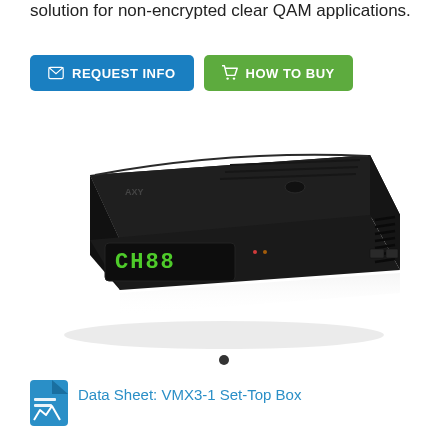solution for non-encrypted clear QAM applications.
[Figure (screenshot): Two call-to-action buttons: 'REQUEST INFO' in blue and 'HOW TO BUY' in green]
[Figure (photo): Black set-top box device displaying 'CH88' on its LED display, showing front and top views with vents and USB ports]
[Figure (other): Single dark circular dot pagination indicator]
[Figure (other): Document icon for Data Sheet link]
Data Sheet: VMX3-1 Set-Top Box